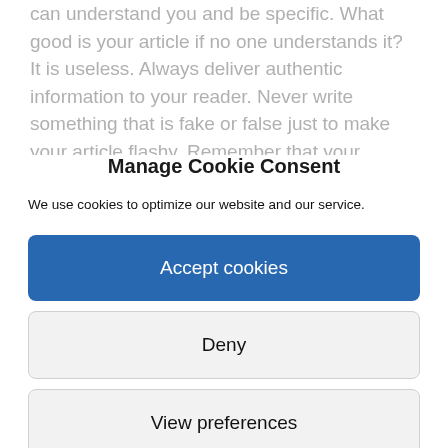can understand you and be specific. What good is your article if no one understands it? It is useless. Always deliver authentic information to your reader. Never write something that is fake or false just to make your article flashy. Remember that your reader is not a fool and he must be visiting hundreds of other articles too and there is nothing more harmful in online marketing than to
Manage Cookie Consent
We use cookies to optimize our website and our service.
Accept cookies
Deny
View preferences